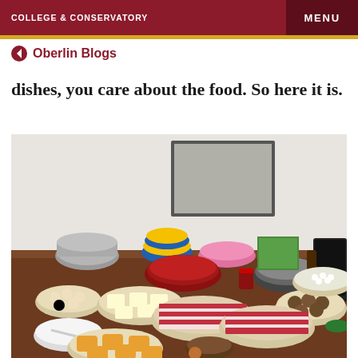COLLEGE & CONSERVATORY   MENU
← Oberlin Blogs
dishes, you care about the food. So here it is.
[Figure (photo): A table covered with many bowls and plates of food ingredients for hot pot, including sliced raw meat arranged in fan patterns on plates, tofu, mushrooms, meatballs, vegetables, a large bowl of red broth, stacked colorful bowls, an electric hot pot appliance, and various condiments and boxes in the background.]